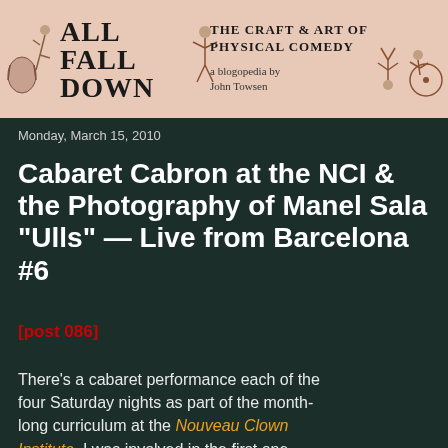[Figure (illustration): Blog header banner for 'All Fall Down: The Craft & Art of Physical Comedy, a blogopedia by John Towsen'. Features illustrated comic figures on left and right sides on a pink/salmon background with bold serif text.]
Monday, March 15, 2010
Cabaret Cabron at the NCI & the Photography of Manel Sala "Ulls" — Live from Barcelona #6
[post 086]
There's a cabaret performance each of the four Saturday nights as part of the month-long curriculum at the Nouveau Clown Institute. I was involved in the first one